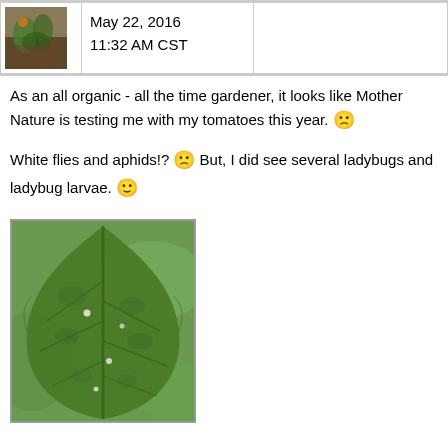| avatar | date | empty |
| --- | --- | --- |
| [photo] | May 22, 2016
11:32 AM CST |  |
As an all organic - all the time gardener, it looks like Mother Nature is testing me with my tomatoes this year. 🙁
White flies and aphids!? 🙁 But, I did see several ladybugs and ladybug larvae. 🙂
[Figure (photo): Close-up photo of a tomato plant leaf showing texture and veins, with some white spots possibly from whiteflies or aphids]